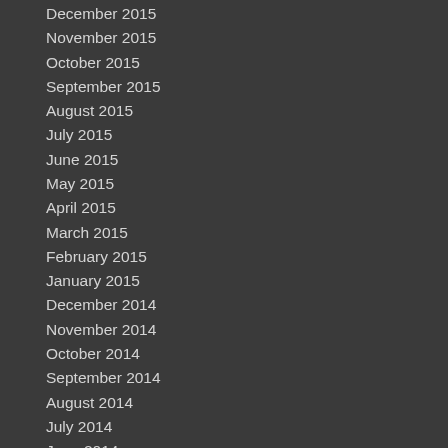December 2015
November 2015
October 2015
September 2015
August 2015
July 2015
June 2015
May 2015
April 2015
March 2015
February 2015
January 2015
December 2014
November 2014
October 2014
September 2014
August 2014
July 2014
June 2014
May 2014
April 2014
March 2014
February 2014